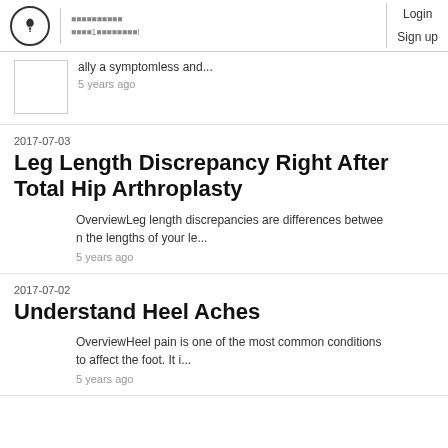Login  Sign up
ally a symptomless and...
5 years ago
2017-07-03
Leg Length Discrepancy Right After Total Hip Arthroplasty
OverviewLeg length discrepancies are differences between the lengths of your le...
5 years ago
2017-07-02
Understand Heel Aches
OverviewHeel pain is one of the most common conditions to affect the foot. It i...
5 years ago